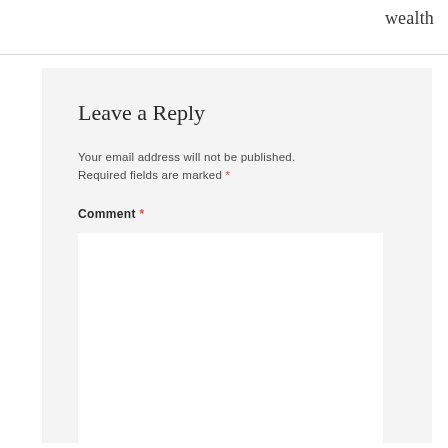wealth
Leave a Reply
Your email address will not be published. Required fields are marked *
Comment *